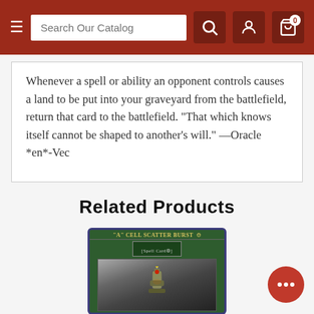Search Our Catalog
Whenever a spell or ability an opponent controls causes a land to be put into your graveyard from the battlefield, return that card to the battlefield. "That which knows itself cannot be shaped to another's will." —Oracle *en*-Vec
Related Products
[Figure (photo): Yu-Gi-Oh trading card: 'A' Cell Scatter Burst [Spell Card] with an illustration of a mechanical/bomb-like device on a green card background]